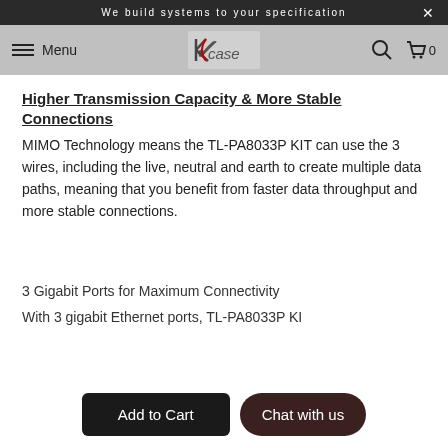We build systems to your specification
[Figure (logo): Xcase logo with red swoosh and grey background nav bar with hamburger menu, search icon, and cart icon]
Higher Transmission Capacity & More Stable Connections
MIMO Technology means the TL-PA8033P KIT can use the 3 wires, including the live, neutral and earth to create multiple data paths, meaning that you benefit from faster data throughput and more stable connections.
3 Gigabit Ports for Maximum Connectivity
With 3 gigabit Ethernet ports, TL-PA8033P KIT…